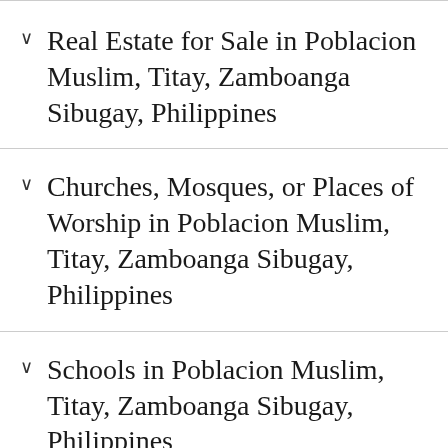Real Estate for Sale in Poblacion Muslim, Titay, Zamboanga Sibugay, Philippines
Churches, Mosques, or Places of Worship in Poblacion Muslim, Titay, Zamboanga Sibugay, Philippines
Schools in Poblacion Muslim, Titay, Zamboanga Sibugay, Philippines
Economy of Poblacion Muslim, Titay, Zamboanga Sibugay, Philippines